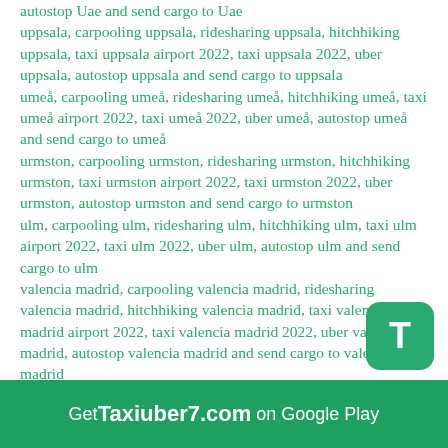autostop Uae and send cargo to Uae
uppsala, carpooling uppsala, ridesharing uppsala, hitchhiking uppsala, taxi uppsala airport 2022, taxi uppsala 2022, uber uppsala, autostop uppsala and send cargo to uppsala
umeå, carpooling umeå, ridesharing umeå, hitchhiking umeå, taxi umeå airport 2022, taxi umeå 2022, uber umeå, autostop umeå and send cargo to umeå
urmston, carpooling urmston, ridesharing urmston, hitchhiking urmston, taxi urmston airport 2022, taxi urmston 2022, uber urmston, autostop urmston and send cargo to urmston
ulm, carpooling ulm, ridesharing ulm, hitchhiking ulm, taxi ulm airport 2022, taxi ulm 2022, uber ulm, autostop ulm and send cargo to ulm
valencia madrid, carpooling valencia madrid, ridesharing valencia madrid, hitchhiking valencia madrid, taxi valencia madrid airport 2022, taxi valencia madrid 2022, uber valencia madrid, autostop valencia madrid and send cargo to valencia madrid
Vienna Wien, carpooling Vienna Wien, ridesharing Vienna Wien, hitchhiking Vienna Wien, taxi Vienna Wien airport 2022, taxi Vienna Wien 2022, uber Vienna Wien, autostop Vienna Wien and send cargo to Vienna Wien
Get Taxiuber7.com on Google Play